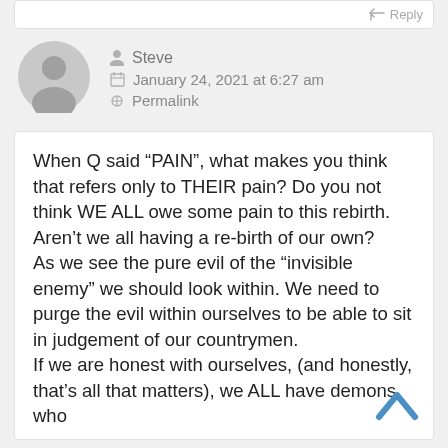[Figure (other): Reply button with arrow icon at top right]
[Figure (other): Default gray user avatar circle icon]
Steve
January 24, 2021 at 6:27 am
Permalink
When Q said “PAIN”, what makes you think that refers only to THEIR pain? Do you not think WE ALL owe some pain to this rebirth.
Aren’t we all having a re-birth of our own?
As we see the pure evil of the “invisible enemy” we should look within. We need to purge the evil within ourselves to be able to sit in judgement of our countrymen.
If we are honest with ourselves, (and honestly, that’s all that matters), we ALL have demons who